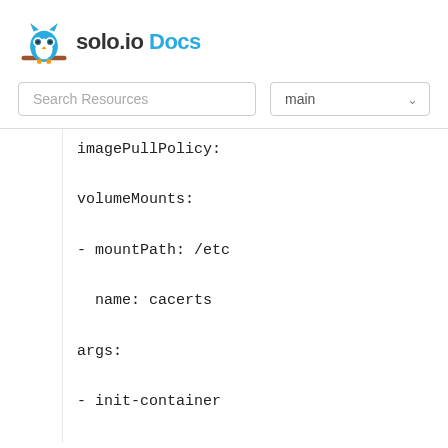solo.io Docs
Search Resources | main
imagePullPolicy:
volumeMounts:
- mountPath: /etc
  name: cacerts
args:
- init-container
env:
- name: PILOT_CER
  value: istiod
- name: POD_NAME
  valueFrom:
    fieldRef: